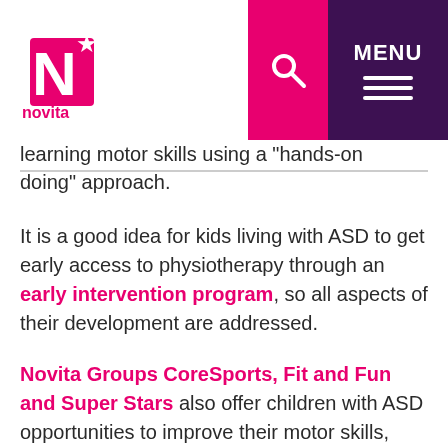novita [logo] | search | MENU
learning motor skills using a "hands-on doing" approach.
It is a good idea for kids living with ASD to get early access to physiotherapy through an early intervention program, so all aspects of their development are addressed.
Novita Groups CoreSports, Fit and Fun and Super Stars also offer children with ASD opportunities to improve their motor skills, social communication, physical activity and fitness. An initial assessment is recommended to determine which group is best suited to your child.